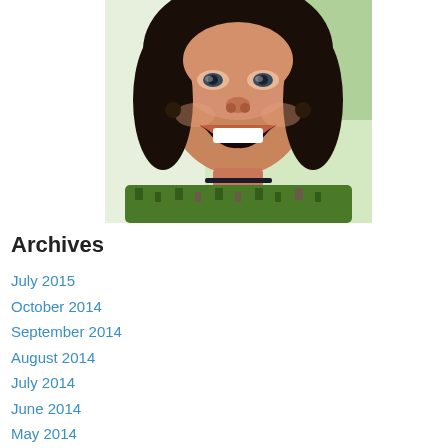[Figure (photo): Selfie photo of a smiling woman with dark hair, wearing a green patterned top, taken outdoors]
Archives
July 2015
October 2014
September 2014
August 2014
July 2014
June 2014
May 2014
April 2014